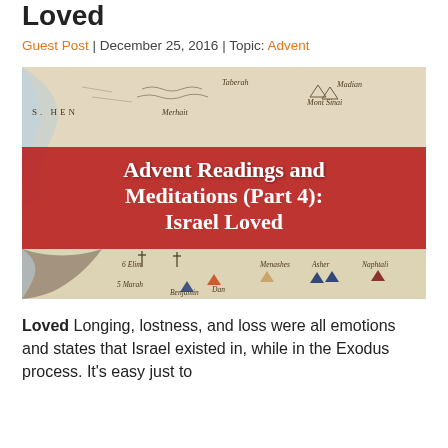Loved
Guest Post | December 25, 2016 | Topic: Advent
[Figure (illustration): An old historical map showing the Exodus route with locations like Taberah, Mount Sinai, Madian, Elim, Marah, Menashes, Asher, Naphtali, Dan, Benjamin labeled. Overlaid with a red banner reading 'Advent Readings and Meditations (Part 4): Israel Loved'. The map shows desert terrain with colored tent symbols for the tribes of Israel.]
Loved Longing, lostness, and loss were all emotions and states that Israel existed in, while in the Exodus process. It's easy just to